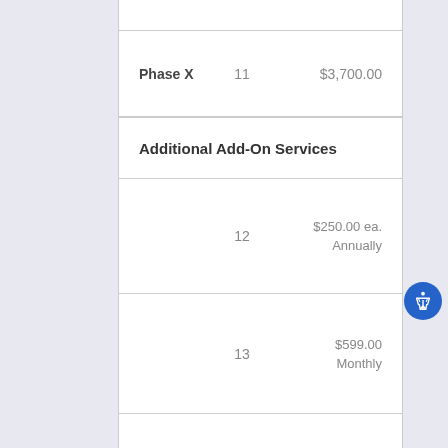| Item | Line | Price |
| --- | --- | --- |
| Phase X | 11 | $3,700.00 |
| Additional Add-On Services |  |  |
|  | 12 | $250.00 ea.
Annually |
|  | 13 | $599.00
Monthly |